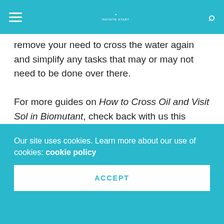Infinite Start [logo/navigation bar]
remove your need to cross the water again and simplify any tasks that may or may not need to be done over there.
For more guides on How to Cross Oil and Visit Sol in Biomutant, check back with us this week!
TAGS   BIOMUTANT
Grant Gaines
Hey, my name is Grant and I'm the Managing Editor, main reviewer and cover technology for Infinite Start. I've learned a lot over the years working for a variety of websites and reviewing literally hundreds of
Our site uses cookies. Learn more about our use of cookies: cookie policy
ACCEPT